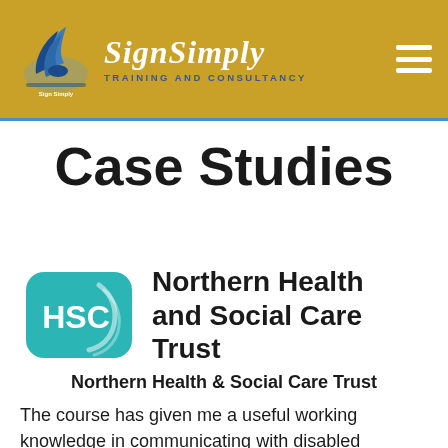SignSimply Training and Consultancy
Case Studies
[Figure (logo): Northern Health and Social Care Trust logo with HSC badge in teal/green and text]
Northern Health & Social Care Trust
The course has given me a useful working knowledge in communicating with disabled children…"